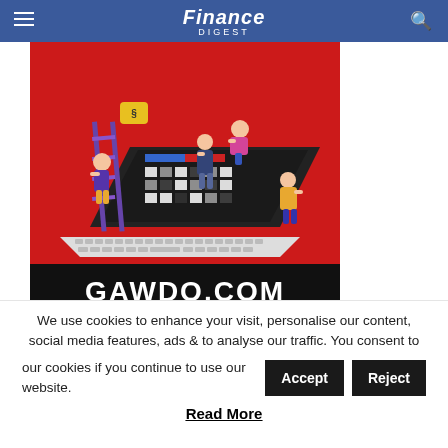Finance DIGEST
[Figure (illustration): Isometric illustration of people building/assembling a large computer monitor/laptop with a keyboard, on a red background. Text 'GAWDO.COM' at the bottom in white bold letters on a black bar.]
We use cookies to enhance your visit, personalise our content, social media features, ads & to analyse our traffic. You consent to our cookies if you continue to use our website.
Accept
Reject
Read More